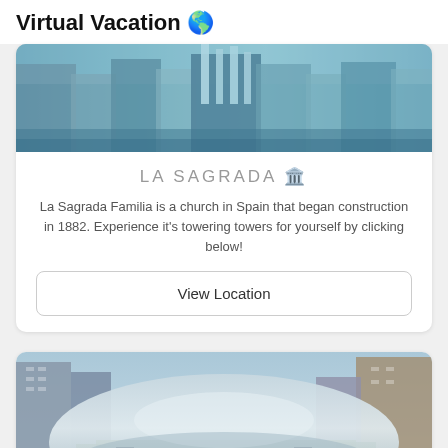Virtual Vacation 🌎
[Figure (photo): Aerial view of La Sagrada Familia and surrounding Barcelona cityscape with blue tones]
LA SAGRADA 🏛️
La Sagrada Familia is a church in Spain that began construction in 1882. Experience it's towering towers for yourself by clicking below!
View Location
[Figure (photo): Cloud Gate (The Bean) sculpture in Chicago's Millennium Park reflecting the city skyline]